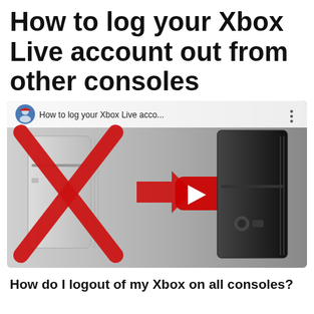How to log your Xbox Live account out from other consoles
[Figure (screenshot): YouTube video thumbnail showing two Xbox consoles: an older white Xbox 360 with a large red X overlaid on it, a red arrow pointing right, and a newer black Xbox 360 slim. The video title reads 'How to log your Xbox Live acco...' with a YouTube channel avatar in the top left corner. A red YouTube play button is visible in the center.]
How do I logout of my Xbox on all consoles?